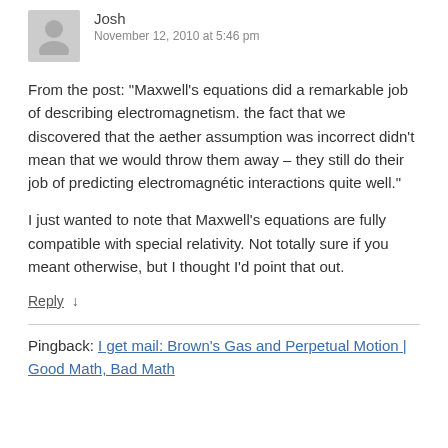Josh
November 12, 2010 at 5:46 pm
From the post: “Maxwell’s equations did a remarkable job of describing electromagnetism. the fact that we discovered that the aether assumption was incorrect didn’t mean that we would throw them away – they still do their job of predicting electromagnétic interactions quite well.”
I just wanted to note that Maxwell’s equations are fully compatible with special relativity. Not totally sure if you meant otherwise, but I thought I’d point that out.
Reply ↓
Pingback: I get mail: Brown’s Gas and Perpetual Motion | Good Math, Bad Math